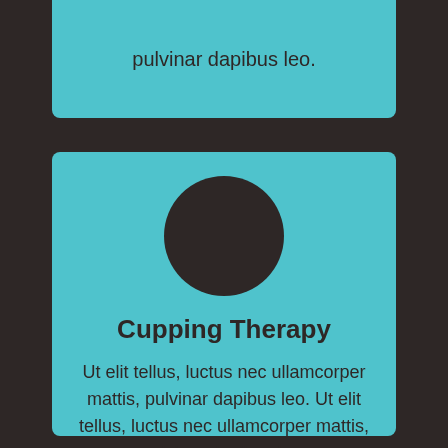pulvinar dapibus leo.
[Figure (illustration): Dark circle icon centered on teal card, representing cupping therapy]
Cupping Therapy
Ut elit tellus, luctus nec ullamcorper mattis, pulvinar dapibus leo. Ut elit tellus, luctus nec ullamcorper mattis, pulvinar dapibus leo.